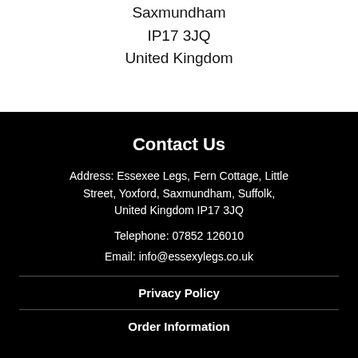Saxmundham
IP17 3JQ
United Kingdom
Contact Us
Address: Essexee Legs, Fern Cottage, Little Street, Yoxford, Saxmundham, Suffolk, United Kingdom IP17 3JQ
Telephone: 07852 126010
Email: info@essexylegs.co.uk
Privacy Policy
Order Information